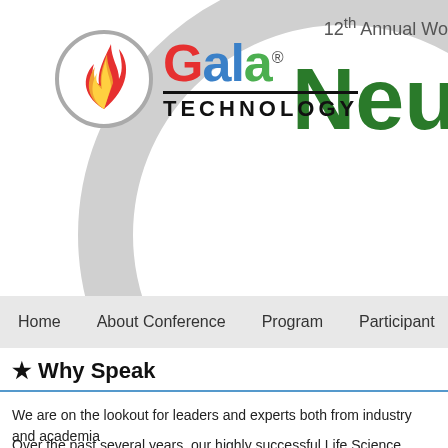[Figure (logo): Gala Technology logo with colorful text and flame icon in gray circle]
12th Annual Wo...
Neu...
Home   About Conference   Program   Participant
★ Why Speak
We are on the lookout for leaders and experts both from industry and academia
Over the past several years, our highly successful Life Science events have a... biotech companies, universities and research institutions. Focusing on quality... have strongly established themselves as THE life science leading events to...